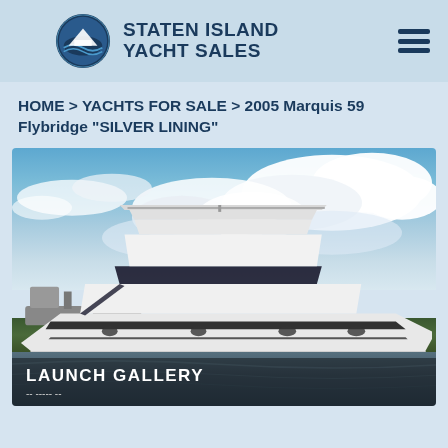Staten Island Yacht Sales logo and navigation
HOME > YACHTS FOR SALE > 2005 Marquis 59 Flybridge "SILVER LINING"
[Figure (photo): White luxury motor yacht named Silver Lining photographed at anchor in calm water with blue sky and clouds in background. Text overlay at bottom reads LAUNCH GALLERY.]
LAUNCH GALLERY